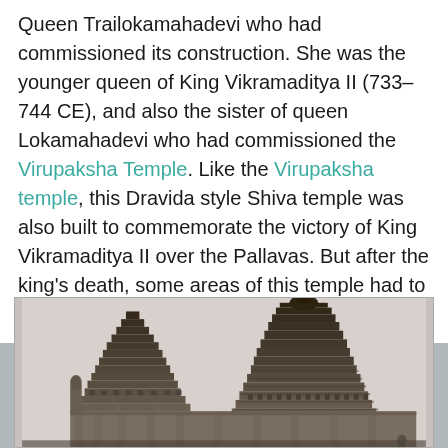Queen Trailokamahadevi who had commissioned its construction. She was the younger queen of King Vikramaditya II (733–744 CE), and also the sister of queen Lokamahadevi who had commissioned the Virupaksha Temple. Like the Virupaksha temple, this Dravida style Shiva temple was also built to commemorate the victory of King Vikramaditya II over the Pallavas. But after the king's death, some areas of this temple had to be left incomplete.
[Figure (photo): Black and white photograph of a Dravida style Hindu temple, showing ornate stone tower structures (vimanas) with intricate carvings and tiered architecture typical of South Indian temple construction.]